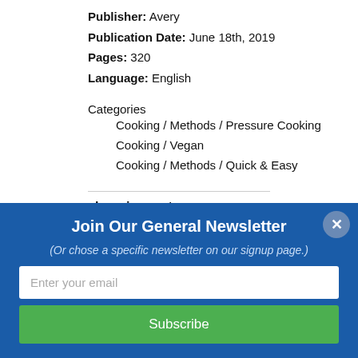Publisher: Avery
Publication Date: June 18th, 2019
Pages: 320
Language: English
Categories
Cooking / Methods / Pressure Cooking
Cooking / Vegan
Cooking / Methods / Quick & Easy
shopping cart
Join Our General Newsletter
(Or chose a specific newsletter on our signup page.)
Enter your email
Subscribe